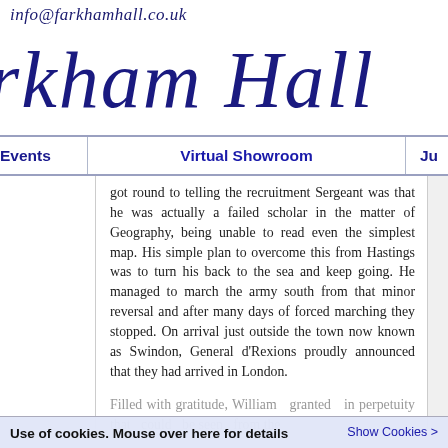info@farkhamhall.co.uk
rkham Hall
Events | Virtual Showroom | Ju
got round to telling the recruitment Sergeant was that he was actually a failed scholar in the matter of Geography, being unable to read even the simplest map. His simple plan to overcome this from Hastings was to turn his back to the sea and keep going. He managed to march the army south from that minor reversal and after many days of forced marching they stopped. On arrival just outside the town now known as Swindon, General d'Rexions proudly announced that they had arrived in London.
Filled with gratitude, William granted in perpetuity that could be seen from the
Use of cookies. Mouse over here for details